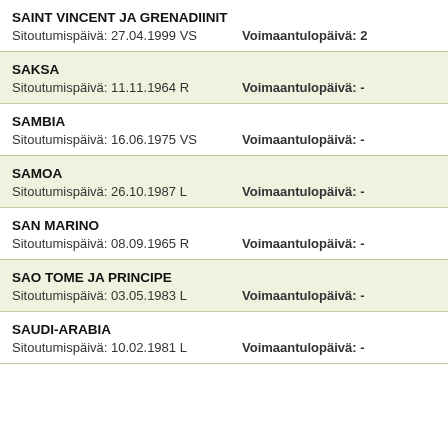SAINT VINCENT JA GRENADIINIT
Sitoutumispäivä: 27.04.1999 VS	Voimaantulopäivä: 2
SAKSA
Sitoutumispäivä: 11.11.1964 R	Voimaantulopäivä: -
SAMBIA
Sitoutumispäivä: 16.06.1975 VS	Voimaantulopäivä: -
SAMOA
Sitoutumispäivä: 26.10.1987 L	Voimaantulopäivä: -
SAN MARINO
Sitoutumispäivä: 08.09.1965 R	Voimaantulopäivä: -
SAO TOME JA PRINCIPE
Sitoutumispäivä: 03.05.1983 L	Voimaantulopäivä: -
SAUDI-ARABIA
Sitoutumispäivä: 10.02.1981 L	Voimaantulopäivä: -